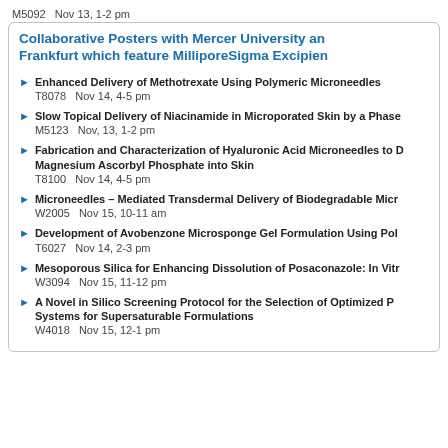M5092   Nov 13, 1-2 pm
Collaborative Posters with Mercer University and Frankfurt which feature MilliporeSigma Excipients
Enhanced Delivery of Methotrexate Using Polymeric Microneedles
T8078   Nov 14, 4-5 pm
Slow Topical Delivery of Niacinamide in Microporated Skin by a Phase
M5123   Nov, 13, 1-2 pm
Fabrication and Characterization of Hyaluronic Acid Microneedles to Deliver Magnesium Ascorbyl Phosphate into Skin
T8100   Nov 14, 4-5 pm
Microneedles – Mediated Transdermal Delivery of Biodegradable Micr
W2005   Nov 15, 10-11 am
Development of Avobenzone Microsponge Gel Formulation Using Poly
T6027   Nov 14, 2-3 pm
Mesoporous Silica for Enhancing Dissolution of Posaconazole: In Vitr
W3094   Nov 15, 11-12 pm
A Novel in Silico Screening Protocol for the Selection of Optimized Polymer Systems for Supersaturable Formulations
W4018   Nov 15, 12-1 pm